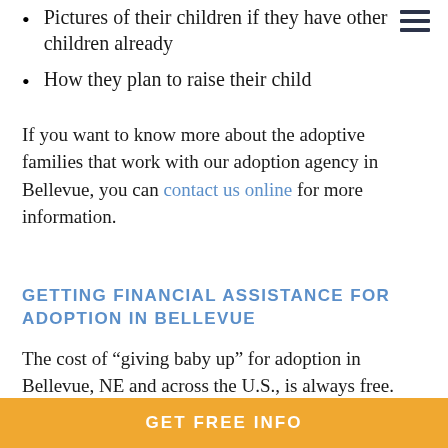Pictures of their children if they have other children already
How they plan to raise their child
If you want to know more about the adoptive families that work with our adoption agency in Bellevue, you can contact us online for more information.
GETTING FINANCIAL ASSISTANCE FOR ADOPTION IN BELLEVUE
The cost of “giving baby up” for adoption in Bellevue, NE and across the U.S., is always free.
Having a baby can come with increased financial strain. But when you choose adoption, your financial assistance for
GET FREE INFO